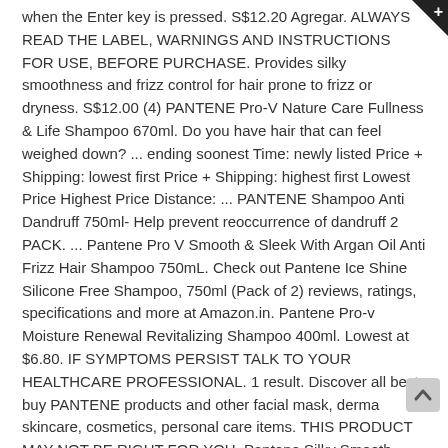when the Enter key is pressed. S$12.20 Agregar. ALWAYS READ THE LABEL, WARNINGS AND INSTRUCTIONS FOR USE, BEFORE PURCHASE. Provides silky smoothness and frizz control for hair prone to frizz or dryness. S$12.00 (4) PANTENE Pro-V Nature Care Fullness & Life Shampoo 670ml. Do you have hair that can feel weighed down? ... ending soonest Time: newly listed Price + Shipping: lowest first Price + Shipping: highest first Lowest Price Highest Price Distance: ... PANTENE Shampoo Anti Dandruff 750ml- Help prevent reoccurrence of dandruff 2 PACK. ... Pantene Pro V Smooth & Sleek With Argan Oil Anti Frizz Hair Shampoo 750mL. Check out Pantene Ice Shine Silicone Free Shampoo, 750ml (Pack of 2) reviews, ratings, specifications and more at Amazon.in. Pantene Pro-v Moisture Renewal Revitalizing Shampoo 400ml. Lowest at $6.80. IF SYMPTOMS PERSIST TALK TO YOUR HEALTHCARE PROFESSIONAL. 1 result. Discover all best buy PANTENE products and other facial mask, derma skincare, cosmetics, personal care items. THIS PRODUCT MAY NOT BE RIGHT FOR YOU. Pantene Silky Smooth Care Shampoo, 750ml Regular Price $66.00 Special Price $51.00. Aussie Shampoo Colour Mate 300ml (93744) ... Tigi Bed Head Shampoo Fully Loaded Massive Volume 750ml (TOTIG17 More Info. Amazon.in: Buy Pantene Ice Shine Silicone Free